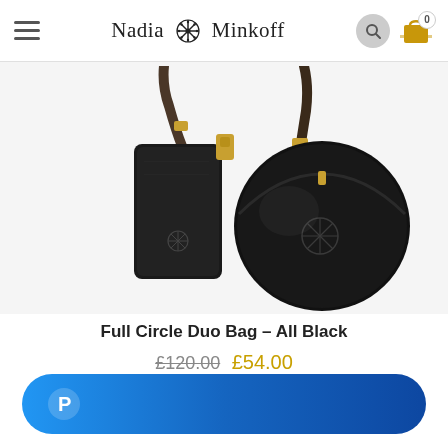Nadia Minkoff
[Figure (photo): Two black leather bags: a rectangular phone pouch with crossbody strap (left) and a round circle bag with crossbody strap (right), both with gold hardware and Nadia Minkoff logo embossed, photographed on white background.]
Full Circle Duo Bag – All Black
£120.00 £54.00
[Figure (logo): PayPal button — blue gradient rounded rectangle with white PayPal 'P' logo]